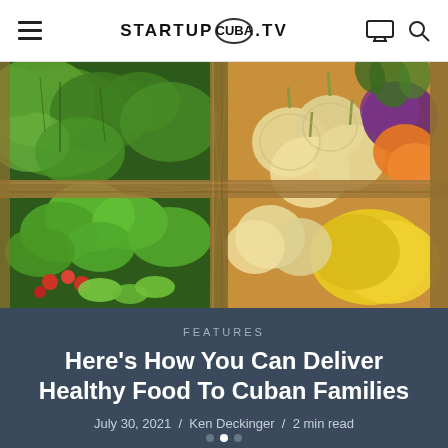STARTUP CUBA TV
[Figure (photo): Overhead view of a woven basket filled with fresh vegetables and fruits including green peppers, leafy greens, onions, tomatoes, mangoes, and purple beets.]
FEATURES
Here's How You Can Deliver Healthy Food To Cuban Families
July 30, 2021 / Ken Deckinger / 2 min read